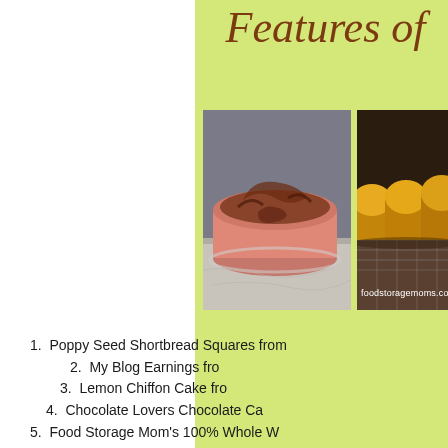Features of
[Figure (photo): A round pink/salmon chiffon cake with chocolate frosting swirls on a glass plate, marble background]
[Figure (photo): Multiple bread loaves cooling on a wire rack, with watermark foodstoragemoms.com]
1.  Poppy Seed Shortbread Squares from
2.  My Blog Earnings fro
3.  Lemon Chiffon Cake fro
4.  Chocolate Lovers Chocolate Ca
5.  Food Storage Mom's 100% Whole W